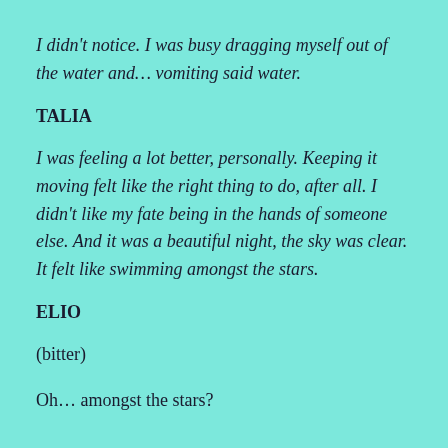I didn't notice. I was busy dragging myself out of the water and… vomiting said water.
TALIA
I was feeling a lot better, personally. Keeping it moving felt like the right thing to do, after all. I didn't like my fate being in the hands of someone else. And it was a beautiful night, the sky was clear. It felt like swimming amongst the stars.
ELIO
(bitter)
Oh… amongst the stars?